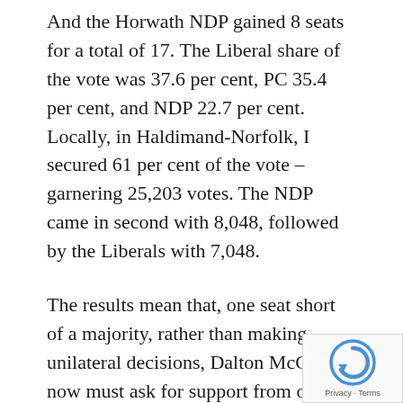And the Horwath NDP gained 8 seats for a total of 17. The Liberal share of the vote was 37.6 per cent, PC 35.4 per cent, and NDP 22.7 per cent. Locally, in Haldimand-Norfolk, I secured 61 per cent of the vote –garnering 25,203 votes. The NDP came in second with 8,048, followed by the Liberals with 7,048.
The results mean that, one seat short of a majority, rather than making unilateral decisions, Dalton McGuinty now must ask for support from other parties.
Rural communities rejected Liberal MPP's in rural areas– including former Agriculture Ministers Mitchell and Dombrowsky. Of the 11